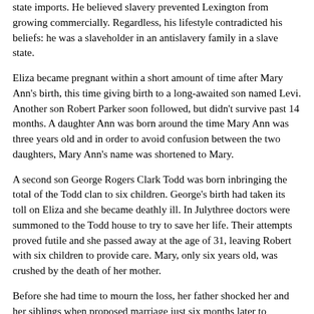state imports. He believed slavery prevented Lexington from growing commercially. Regardless, his lifestyle contradicted his beliefs: he was a slaveholder in an antislavery family in a slave state.
Eliza became pregnant within a short amount of time after Mary Ann's birth, this time giving birth to a long-awaited son named Levi. Another son Robert Parker soon followed, but didn't survive past 14 months. A daughter Ann was born around the time Mary Ann was three years old and in order to avoid confusion between the two daughters, Mary Ann's name was shortened to Mary.
A second son George Rogers Clark Todd was born inbringing the total of the Todd clan to six children. George's birth had taken its toll on Eliza and she became deathly ill. In Julythree doctors were summoned to the Todd house to try to save her life. Their attempts proved futile and she passed away at the age of 31, leaving Robert with six children to provide care. Mary, only six years old, was crushed by the death of her mother.
Before she had time to mourn the loss, her father shocked her and her siblings when proposed marriage just six months later to Elizabeth "Betsey" Humphreys. Betsey accepted the proposal, but found repeated excuses to postpone the wedding. She was in no hurry to become mother to Robert's six children. The Todd household took a turn for the worse after the wedding and rooms